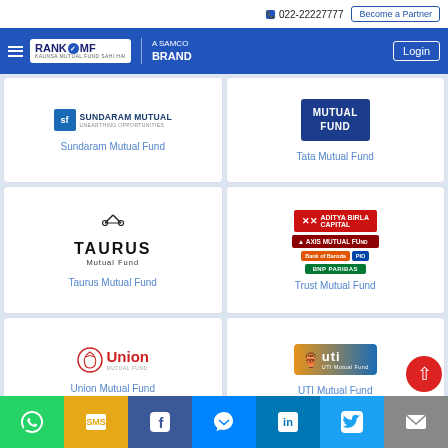022-22227777 | Become a Partner
RANKMF A SAMCO BRAND | Login
[Figure (logo): Sundaram Mutual Fund logo]
Sundaram Mutual Fund
[Figure (logo): Tata Mutual Fund logo]
Tata Mutual Fund
[Figure (logo): Taurus Mutual Fund logo]
Taurus Mutual Fund
[Figure (logo): Trust Mutual Fund - composite logos including Aditya Birla Capital, Axis Mutual Fund, Bank of Baroda, PIO, BNP Paribas]
Trust Mutual Fund
[Figure (logo): Union Mutual Fund logo]
Union Mutual Fund
[Figure (logo): UTI Mutual Fund logo]
UTI Mutual Fund
WhatsApp | SMS | Facebook | Messenger | LinkedIn | Twitter | Email